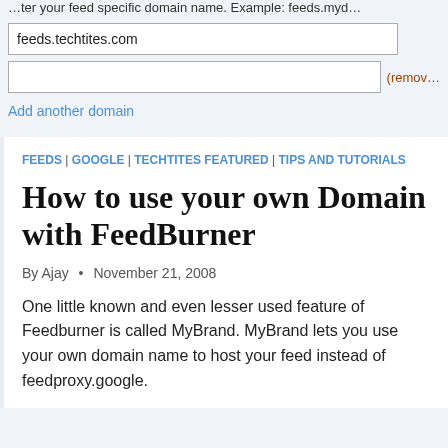…ter your feed specific domain name. Example: feeds.myd…
feeds.techtites.com
(remove)
Add another domain
FEEDS | GOOGLE | TECHTITES FEATURED | TIPS AND TUTORIALS
How to use your own Domain with FeedBurner
By Ajay • November 21, 2008
One little known and even lesser used feature of Feedburner is called MyBrand. MyBrand lets you use your own domain name to host your feed instead of feedproxy.google.